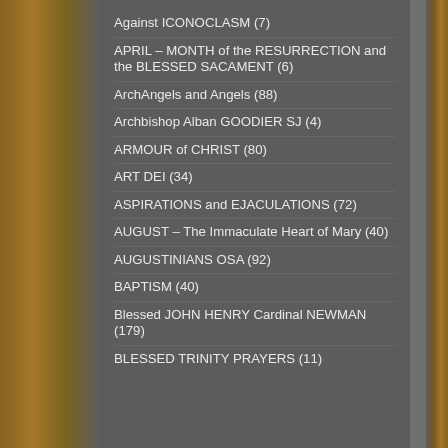Against ICONOCLASM (7)
APRIL – MONTH of the RESURRECTION and the BLESSED SACAMENT (6)
ArchAngels and Angels (88)
Archbishop Alban GOODIER SJ (4)
ARMOUR of CHRIST (80)
ART DEI (34)
ASPIRATIONS and EJACULATIONS (72)
AUGUST – The Immaculate Heart of Mary (40)
AUGUSTINIANS OSA (92)
BAPTISM (40)
Blessed JOHN HENRY Cardinal NEWMAN (179)
BLESSED TRINITY PRAYERS (11)